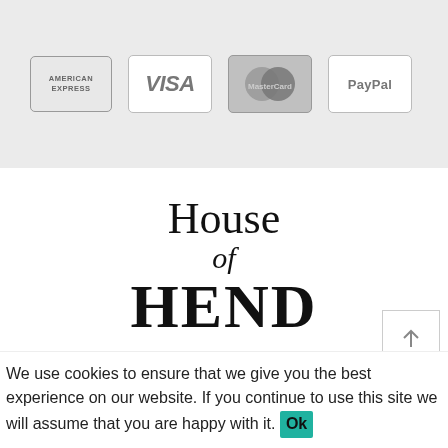[Figure (logo): Payment method logos: American Express, Visa, MasterCard, PayPal displayed as card icons on a grey background]
House of HEND
TRUSTED AND SECURE PAYMENT WITH TELR.
We use cookies to ensure that we give you the best experience on our website. If you continue to use this site we will assume that you are happy with it. Ok